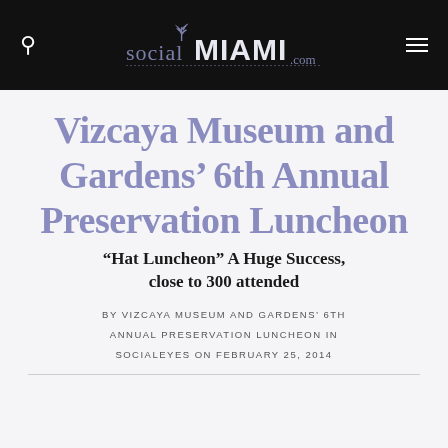socialMIAMI.com
Vizcaya Museum and Gardens’ 6th Annual Preservation Luncheon
“Hat Luncheon” A Huge Success, close to 300 attended
BY VIZCAYA MUSEUM AND GARDENS’ 6TH ANNUAL PRESERVATION LUNCHEON IN SOCIALEYES ON FEBRUARY 25, 2014